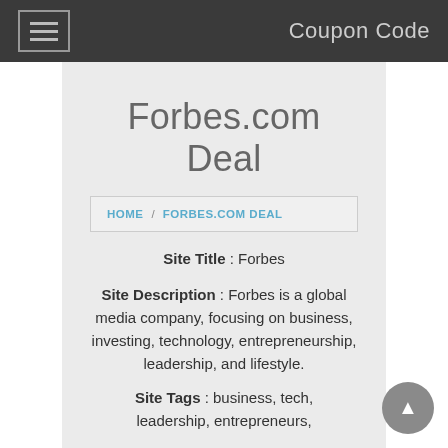Coupon Code
Forbes.com Deal
HOME / FORBES.COM DEAL
Site Title : Forbes
Site Description : Forbes is a global media company, focusing on business, investing, technology, entrepreneurship, leadership, and lifestyle.
Site Tags : business, tech, leadership, entrepreneurs,